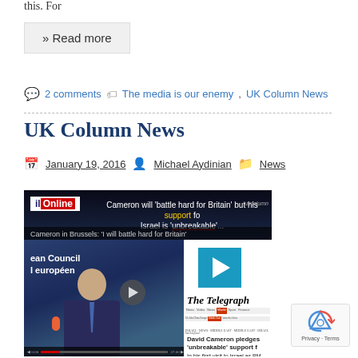this. For
» Read more
2 comments   The media is our enemy, UK Column News
UK Column News
January 19, 2016   Michael Aydinian   News
[Figure (screenshot): Video screenshot showing a UK Column News report. Top portion shows a Mail Online headline 'Cameron will battle hard for Britain but his support for Israel is unbreakable...' overlaid on a video. Left side shows Cameron at European Council. Right side shows The Telegraph website with article 'David Cameron pledges unbreakable support [for Israel]'. Play buttons visible in center and right panel.]
[Figure (logo): reCAPTCHA badge with Privacy and Terms links]